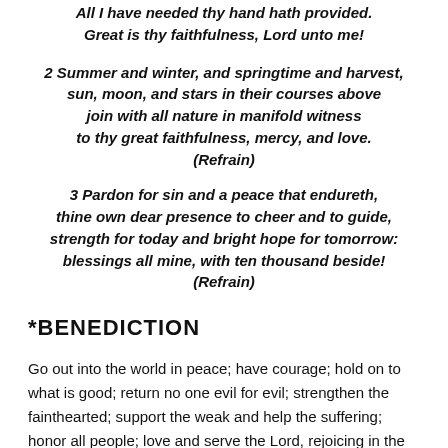All I have needed thy hand hath provided.
Great is thy faithfulness, Lord unto me!
2 Summer and winter, and springtime and harvest,
sun, moon, and stars in their courses above
join with all nature in manifold witness
to thy great faithfulness, mercy, and love.
(Refrain)
3 Pardon for sin and a peace that endureth,
thine own dear presence to cheer and to guide,
strength for today and bright hope for tomorrow:
blessings all mine, with ten thousand beside!
(Refrain)
*BENEDICTION
Go out into the world in peace; have courage; hold on to what is good; return no one evil for evil; strengthen the fainthearted; support the weak and help the suffering; honor all people; love and serve the Lord, rejoicing in the power of the Holy Spirit.